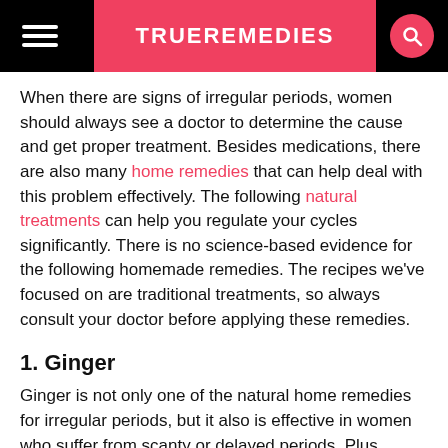TRUEREMEDIES
When there are signs of irregular periods, women should always see a doctor to determine the cause and get proper treatment. Besides medications, there are also many home remedies that can help deal with this problem effectively. The following natural treatments can help you regulate your cycles significantly. There is no science-based evidence for the following homemade remedies. The recipes we've focused on are traditional treatments, so always consult your doctor before applying these remedies.
1. Ginger
Ginger is not only one of the natural home remedies for irregular periods, but it also is effective in women who suffer from scanty or delayed periods. Plus, ginger greatly